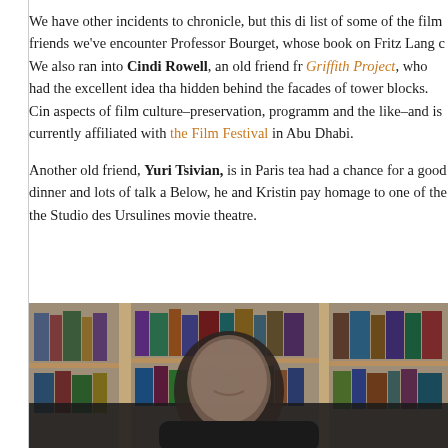We have other incidents to chronicle, but this di list of some of the film friends we've encounter Professor Bourget, whose book on Fritz Lang c We also ran into Cindi Rowell, an old friend fr Griffith Project, who had the excellent idea tha hidden behind the facades of tower blocks. Cin aspects of film culture–preservation, programm and the like–and is currently affiliated with the Film Festival in Abu Dhabi.
Another old friend, Yuri Tsivian, is in Paris tea had a chance for a good dinner and lots of talk a Below, he and Kristin pay homage to one of the the Studio des Ursulines movie theatre.
[Figure (photo): Photo of a man smiling in front of a bookshelf, partially visible.]